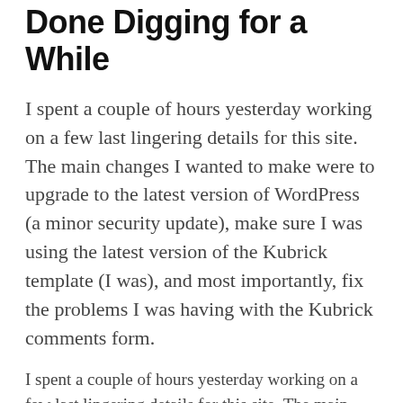Done Digging for a While
I spent a couple of hours yesterday working on a few last lingering details for this site. The main changes I wanted to make were to upgrade to the latest version of WordPress (a minor security update), make sure I was using the latest version of the Kubrick template (I was), and most importantly, fix the problems I was having with the Kubrick comments form.
I spent a couple of hours yesterday working on a few last lingering details for this site. The main changes I wanted to make were to